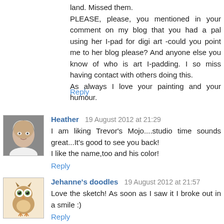land. Missed them.
PLEASE, please, you mentioned in your comment on my blog that you had a pal using her I-pad for digi art -could you point me to her blog please? And anyone else you know of who is art I-padding. I so miss having contact with others doing this.
As always I love your painting and your humour.
Reply
Heather  19 August 2012 at 21:29
I am liking Trevor's Mojo....studio time sounds great...It's good to see you back!
I like the name,too and his color!
Reply
Jehanne's doodles  19 August 2012 at 21:57
Love the sketch! As soon as I saw it I broke out in a smile :)
Reply